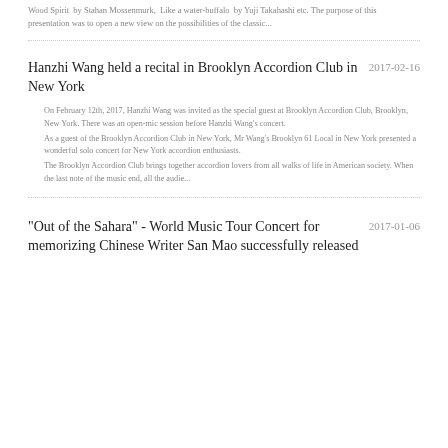Wood Spirit  by Stahan Mossenmurk,  Like a water-buffalo  by Yuji Takahashi etc. The purpose of this presentation was to open a new view on the possibilities of the classic...
Hanzhi Wang held a recital in Brooklyn Accordion Club in New York  2017-02-16
On February 12th, 2017, Hanzhi Wang was invited as the special guest at Brooklyn Accordion Club, Brooklyn, New York. There was an open-mic session before Hanzhi Wang's concert.
As a guest of the Brooklyn Accordion Club in New York, Mr Wang's Brooklyn 61 Local in New York presented a wonderful solo concert for New York accordion enthusiasts.
The Brooklyn Accordion Club brings together accordion lovers from all walks of life in American society. When the last note of the music end, all the audie...
“Out of the Sahara” - World Music Tour Concert for memorizing Chinese Writer San Mao successfully released  2017-01-06